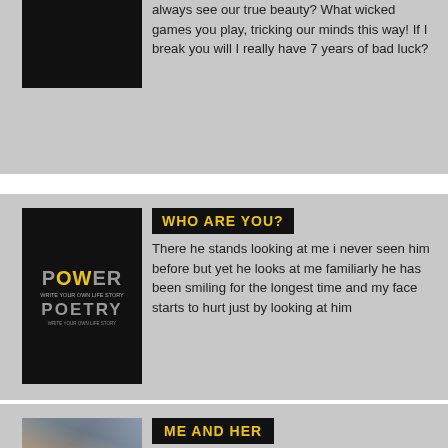[Figure (photo): Black square thumbnail image at top]
always see our true beauty? What wicked games you play, tricking our minds this way! If I break you will I really have 7 years of bad luck?
[Figure (photo): Power Poetry book/logo image on black background]
WHO ARE YOU?
There he stands looking at me i never seen him before but yet he looks at me familiarly he has been smiling for the longest time and my face starts to hurt just by looking at him
[Figure (photo): Classical painting of a woman looking in a mirror]
ME AND HER
She lies in bed with me at night, She pushes me to fight, She's the fire that ignites, And inspires me to write, She says everything will be alright, And from the mirror looks into my eyes,